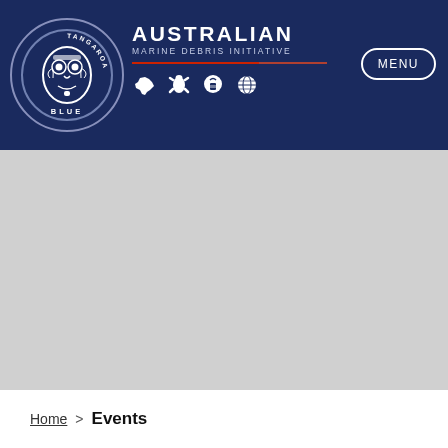AUSTRALIAN MARINE DEBRIS INITIATIVE - Tangaroa Blue
[Figure (logo): Tangaroa Blue circular logo with Maori-style artwork in white on dark blue background]
[Figure (illustration): Gray placeholder image area (hero/banner image not loaded)]
Home > Events